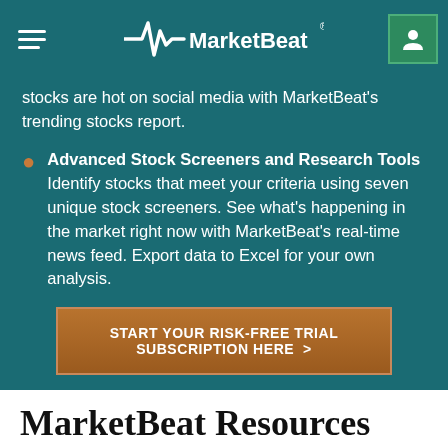MarketBeat
stocks are hot on social media with MarketBeat's trending stocks report.
Advanced Stock Screeners and Research Tools — Identify stocks that meet your criteria using seven unique stock screeners. See what's happening in the market right now with MarketBeat's real-time news feed. Export data to Excel for your own analysis.
START YOUR RISK-FREE TRIAL SUBSCRIPTION HERE >
MarketBeat Resources